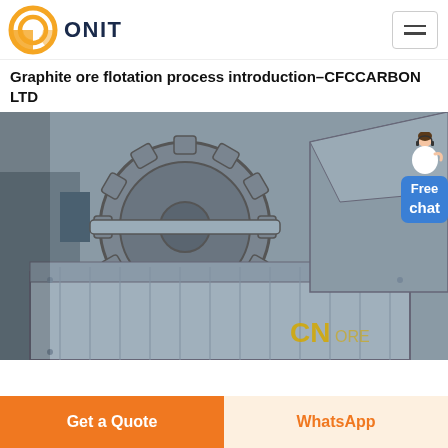[Figure (logo): ONIT logo with orange circular gear/ring icon and dark blue bold text ONIT]
Graphite ore flotation process introduction–CFCCARBON LTD
[Figure (photo): Industrial mining equipment showing a large metal gear/wheel mechanism and conveyor/trough components, with CN branding visible in yellow at bottom]
Free chat
Get a Quote
WhatsApp